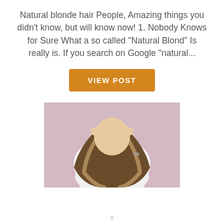Natural blonde hair People, Amazing things you didn't know, but will know now! 1. Nobody Knows for Sure What a so called "Natural Blond" Is really is. If you search on Google "natural...
VIEW POST
[Figure (photo): A woman seen from behind with long blonde-highlighted brown hair, wearing a white long-sleeve top, hands on top of head, against a pink/mauve background.]
v